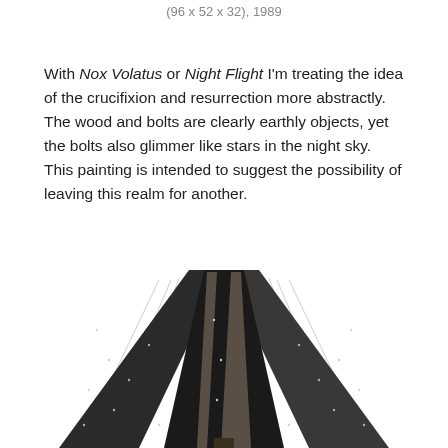(96 x 52 x 32), 1989
With Nox Volatus or Night Flight I'm treating the idea of the crucifixion and resurrection more abstractly. The wood and bolts are clearly earthly objects, yet the bolts also glimmer like stars in the night sky. This painting is intended to suggest the possibility of leaving this realm for another.
[Figure (photo): A dark sculptural object made of wood panels arranged in a cross or trapezoidal form, photographed against a white background. The piece features darker wood panels with small glimmering points resembling stars or bolts, creating a dramatic geometric composition suggestive of a night sky and cross-like structure.]